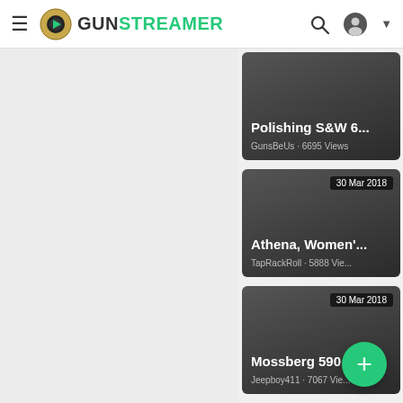GUNSTREAMER
[Figure (screenshot): Video thumbnail card: Polishing S&W 6... GunsBeUs · 6695 Views]
[Figure (screenshot): Video thumbnail card: Athena, Women'... TapRackRoll · 5888 Vie... · 30 Mar 2018]
[Figure (screenshot): Video thumbnail card: Mossberg 590 S... Jeepboy411 · 7067 Vie... · 30 Mar 2018]
[Figure (screenshot): Video thumbnail card: 8:56 Colt Tro... FireMountainOutdoors ... · 30 Mar 2018]